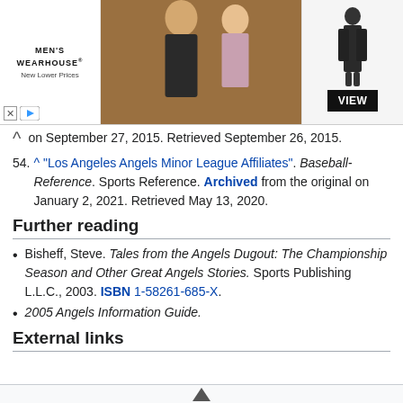[Figure (photo): Men's Wearhouse advertisement banner showing a couple in formal wear and a man in a suit, with VIEW button]
on September 27, 2015. Retrieved September 26, 2015.
54. ^ "Los Angeles Angels Minor League Affiliates". Baseball-Reference. Sports Reference. Archived from the original on January 2, 2021. Retrieved May 13, 2020.
Further reading
Bisheff, Steve. Tales from the Angels Dugout: The Championship Season and Other Great Angels Stories. Sports Publishing L.L.C., 2003. ISBN 1-58261-685-X.
2005 Angels Information Guide.
External links